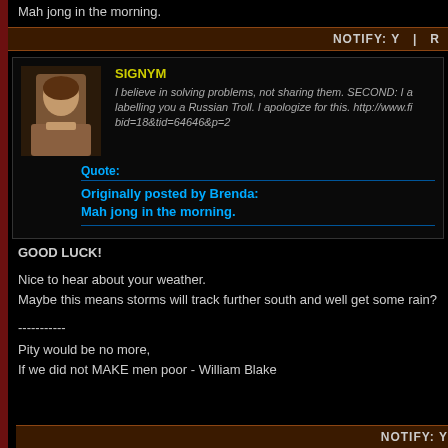Mah jong in the morning.
NOTIFY: Y  | R
SIGNYM
I believe in solving problems, not sharing them. SECOND: I am labelling you a Russian Troll. I apologize for this. http://www.fi...bid=18&tid=64646&p=2
Quote:
Originally posted by Brenda:
Mah jong in the morning.
GOOD LUCK!

Nice to hear about your weather.
Maybe this means storms will track further south and well get some rain?

-----------
Pity would be no more,
If we did not MAKE men poor - William Blake
NOTIFY: Y